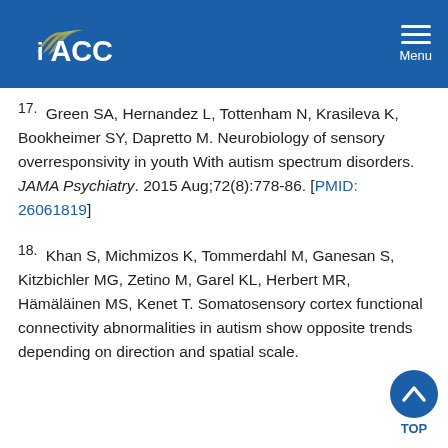IACC Menu
17. Green SA, Hernandez L, Tottenham N, Krasileva K, Bookheimer SY, Dapretto M. Neurobiology of sensory overresponsivity in youth With autism spectrum disorders. JAMA Psychiatry. 2015 Aug;72(8):778-86. [PMID: 26061819]
18. Khan S, Michmizos K, Tommerdahl M, Ganesan S, Kitzbichler MG, Zetino M, Garel KL, Herbert MR, Hämäläinen MS, Kenet T. Somatosensory cortex functional connectivity abnormalities in autism show opposite trends depending on direction and spatial scale.